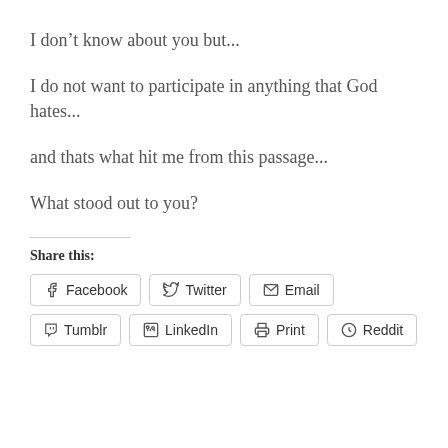I don't know about you but...
I do not want to participate in anything that God hates...
and thats what hit me from this passage...
What stood out to you?
Share this:
Facebook  Twitter  Email  Tumblr  LinkedIn  Print  Reddit